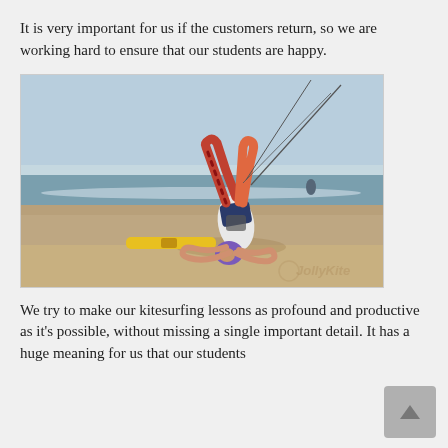It is very important for us if the customers return, so we are working hard to ensure that our students are happy.
[Figure (photo): A kitesurfer falling or doing a trick on a sandy beach, upside down with legs in the air, attached to kite lines. A kiteboard lies on the sand nearby. Ocean and sky visible in background. Watermark 'JollyKite' in bottom right corner.]
We try to make our kitesurfing lessons as profound and productive as it's possible, without missing a single important detail. It has a huge meaning for us that our students